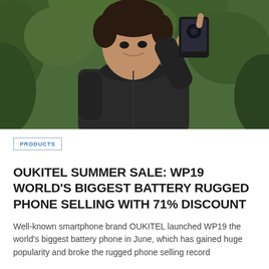[Figure (photo): Man in dark jacket holding up a rugged smartphone (OUKITEL WP19) to take a photo, with green foliage background]
PRODUCTS
OUKITEL SUMMER SALE: WP19 WORLD'S BIGGEST BATTERY RUGGED PHONE SELLING WITH 71% DISCOUNT
Well-known smartphone brand OUKITEL launched WP19 the world's biggest battery phone in June, which has gained huge popularity and broke the rugged phone selling record